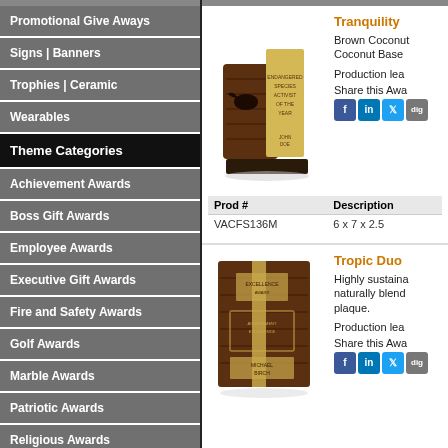Promotional Give Aways
Signs | Banners
Trophies | Ceramic
Wearables
Theme Categories
Achievement Awards
Boss Gift Awards
Employee Awards
Executive Gift Awards
Fire and Safety Awards
Golf Awards
Marble Awards
Patriotic Awards
Religious Awards
Sales Awards
Secretary Gift Awards
Tranquility
Brown Coconut Coconut Base
Production lea
Share this Awa
[Figure (photo): Tranquility award - brown coconut trophy with engraving panel]
| Prod # | Description |
| --- | --- |
| VACFS136M | 6 x 7 x 2.5 |
Tropic Duo
Highly sustaina naturally blend plaque.
Production lea
Share this Awa
[Figure (photo): Tropic Duo award - brown coconut plaque with natural wood stripe]